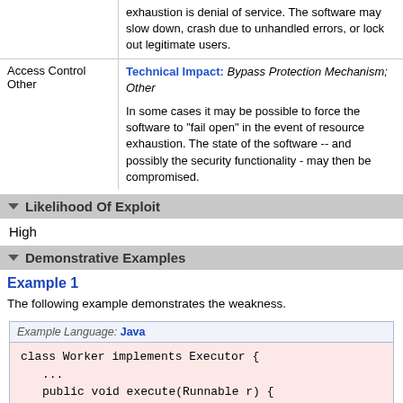|  |  |
| --- | --- |
|  | exhaustion is denial of service. The software may slow down, crash due to unhandled errors, or lock out legitimate users. |
| Access Control Other | Technical Impact: Bypass Protection Mechanism; Other

In some cases it may be possible to force the software to "fail open" in the event of resource exhaustion. The state of the software -- and possibly the security functionality - may then be compromised. |
Likelihood Of Exploit
High
Demonstrative Examples
Example 1
The following example demonstrates the weakness.
Example Language: Java
class Worker implements Executor {
   ...
   public void execute(Runnable r) {